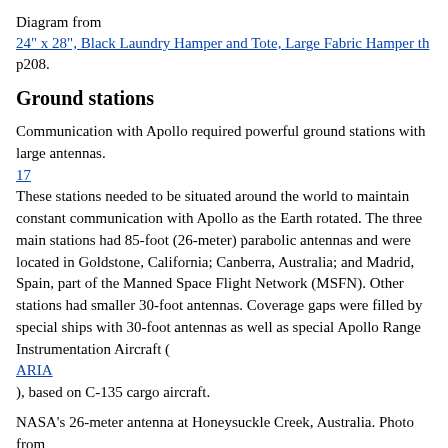Diagram from 24" x 28", Black Laundry Hamper and Tote, Large Fabric Hamper th p208.
Ground stations
Communication with Apollo required powerful ground stations with large antennas.
17
These stations needed to be situated around the world to maintain constant communication with Apollo as the Earth rotated. The three main stations had 85-foot (26-meter) parabolic antennas and were located in Goldstone, California; Canberra, Australia; and Madrid, Spain, part of the Manned Space Flight Network (MSFN). Other stations had smaller 30-foot antennas. Coverage gaps were filled by special ships with 30-foot antennas as well as special Apollo Range Instrumentation Aircraft ( ARIA ), based on C-135 cargo aircraft.
NASA's 26-meter antenna at Honeysuckle Creek, Australia. Photo from NASA .